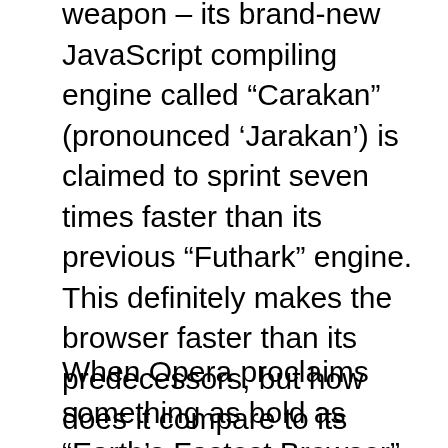weapon – its brand-new JavaScript compiling engine called “Carakan” (pronounced ‘Jarakan’) is claimed to sprint seven times faster than its previous “Futhark” engine. This definitely makes the browser faster than its predecessors, but how does it compare to its competitors?
When Opera proclaims something as bold as “Earth’s Fastest Browser”, we had to take a closer look and check the validity of this claim. Its competition is surely not sitting idle: Google Chrome’s V8 engine is constantly being improved, as it evident from the performance gains in each dev release; Mozilla is polishing their SpiderMonkey engine with each new version, and en route to creating a new JavaScript engine, and Safari is tweaking its SquirrelFish engine – all trying their best to squeeze every drop from their JavaScript engines. With that in mind, we felt that the